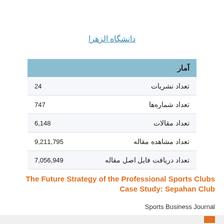دانشگاه الزهرا
| آمار |  |
| --- | --- |
| تعداد نشریات | 24 |
| تعداد شماره‌ها | 747 |
| تعداد مقالات | 6,148 |
| تعداد مشاهده مقاله | 9,211,795 |
| تعداد دریافت فایل اصل مقاله | 7,056,949 |
The Future Strategy of the Professional Sports Clubs Case Study: Sepahan Club
Sports Business Journal